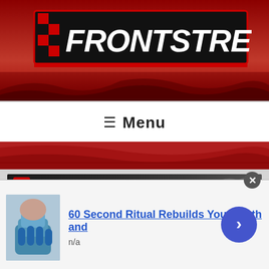[Figure (logo): Frontstretch motorsports website logo with red checkered flag design and bold white FRONTSTRETCH text on black background, red racing banner header with crowd/grandstand imagery]
☰ Menu
[Figure (illustration): Race Weekend Central banner advertisement: dark background with motion-blurred race car, bold white text 'Race Weekend Central' on left and italic 'Weekend Results All in One Place' on right]
[Figure (photo): Partial photo visible at top of ad section, appears to be a person]
60 Second Ritual Rebuilds Your Teeth and
n/a